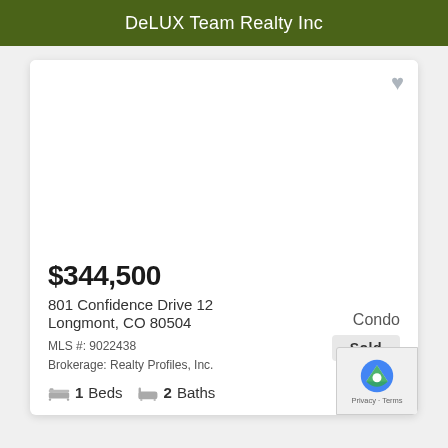DeLUX Team Realty Inc
[Figure (photo): Property listing photo area (blank/white)]
$344,500
Condo
Sold
801 Confidence Drive 12
Longmont, CO 80504
MLS #: 9022438
Brokerage: Realty Profiles, Inc.
1 Beds   2 Baths